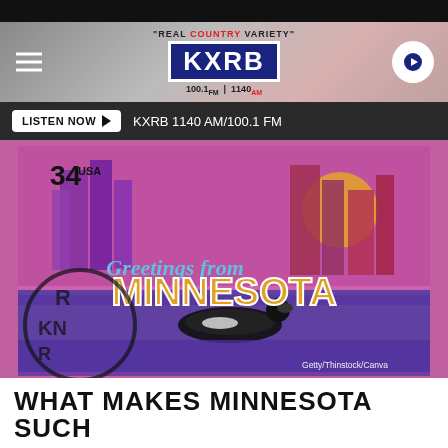KXRB - "REAL COUNTRY VARIETY" - 100.1 FM | 1140 AM
LISTEN NOW ▶  KXRB 1140 AM/100.1 FM
[Figure (photo): A 34¢ USA postage stamp showing 'Greetings from MINNESOTA' with a city skyline, loon on water, and a large sun. Pink/magenta background. Getty/Thinstock/Canva credit shown.]
WHAT MAKES MINNESOTA SUCH